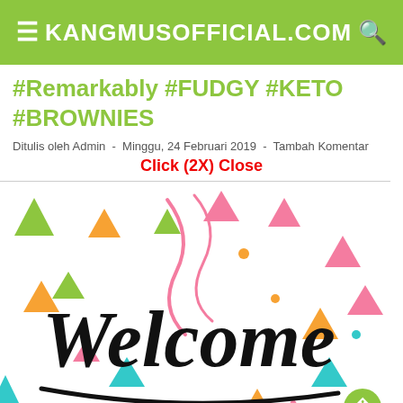KANGMUSOFFICIAL.COM
#Remarkably #FUDGY #KETO #BROWNIES
Ditulis oleh Admin  -  Minggu, 24 Februari 2019  -  Tambah Komentar
Click (2X) Close
[Figure (illustration): Welcome illustration with colorful confetti triangles and decorative script text reading 'Welcome' in black brush lettering on white background]